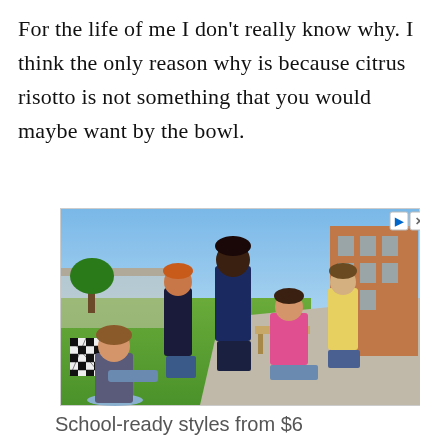For the life of me I don’t really know why. I think the only reason why is because citrus risotto is not something that you would maybe want by the bowl.
[Figure (photo): Advertisement photo showing a group of children with backpacks in a school setting outdoors, with grass and a building in the background.]
School-ready styles from $6